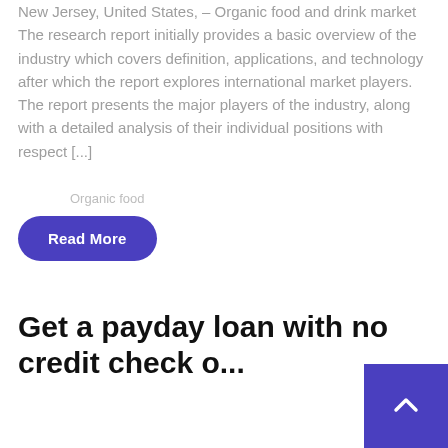New Jersey, United States, – Organic food and drink market The research report initially provides a basic overview of the industry which covers definition, applications, and technology after which the report explores international market players. The report presents the major players of the industry, along with a detailed analysis of their individual positions with respect [...]
Organic food
Read More
Get a payday loan with no credit check o...